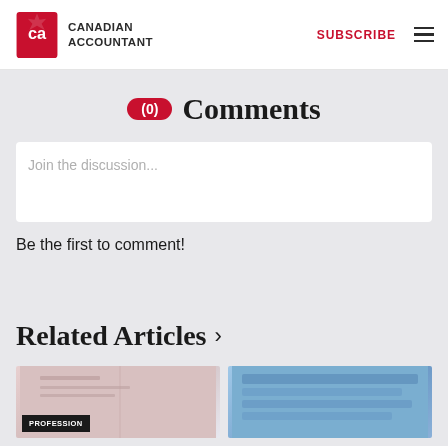Canadian Accountant — SUBSCRIBE
(0) Comments
Join the discussion...
Be the first to comment!
Related Articles ›
[Figure (photo): Article card image with PROFESSION badge — left card showing red tones]
[Figure (photo): Article card image — right card showing blue tones]